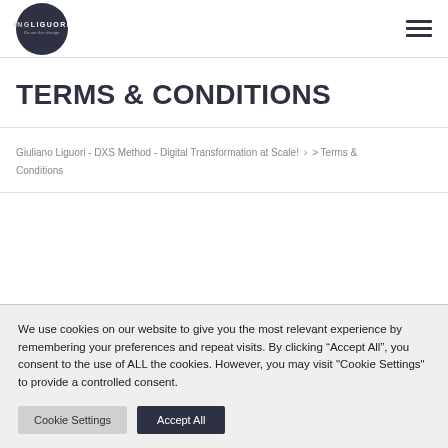INGLIGUORI - Do we the change
TERMS & CONDITIONS
Giuliano Liguori - DXS Method - Digital Transformation at Scale! > Terms & Conditions
We use cookies on our website to give you the most relevant experience by remembering your preferences and repeat visits. By clicking "Accept All", you consent to the use of ALL the cookies. However, you may visit "Cookie Settings" to provide a controlled consent.